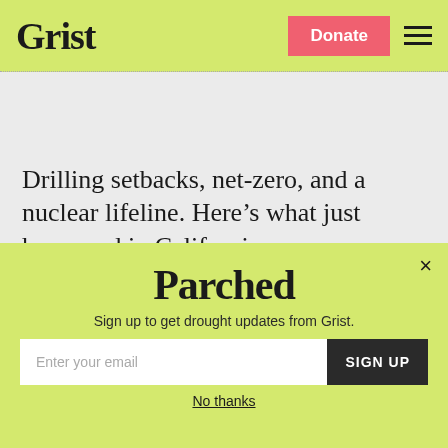Grist  Donate
Drilling setbacks, net-zero, and a nuclear lifeline. Here’s what just happened in California.
[Figure (illustration): Parched newsletter modal overlay on lime-green background with logo text 'Parched', subtitle 'Sign up to get drought updates from Grist.', email input field, SIGN UP button, and 'No thanks' link. A close X button is in the top-right corner.]